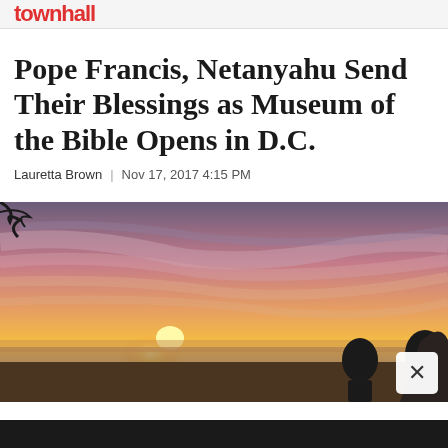townhall
Pope Francis, Netanyahu Send Their Blessings as Museum of the Bible Opens in D.C.
Lauretta Brown | Nov 17, 2017 4:15 PM
[Figure (photo): Silhouettes of people watching a dramatic sunset or sunrise over a landscape, with colorful pink, orange, and purple clouds and golden light on the horizon.]